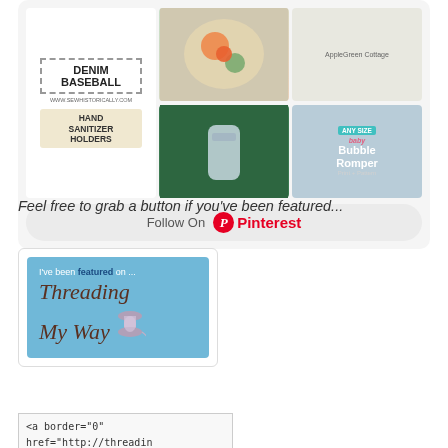[Figure (screenshot): Pinterest widget showing craft/sewing pins: Denim Baseball, Hand Sanitizer Holders, floral bags, water bottle holder, Bubble Romper, with Follow On Pinterest button]
Feel free to grab a button if you've been featured...
[Figure (illustration): Featured button image: light blue background with text 'I've been featured on ... Threading My Way' with spool of thread illustration]
<a border="0" href="http://threadin